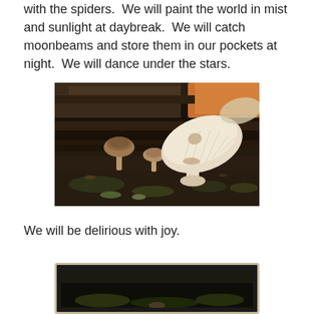with the spiders.  We will paint the world in mist and sunlight at daybreak.  We will catch moonbeams and store them in our pockets at night.  We will dance under the stars.
[Figure (photo): Three mushrooms growing on and around a decaying log in a forest setting. Two small brown-capped mushrooms on the left and a large white/cream mushroom with a ribbed cap on the right, surrounded by dark wood, moss, and forest debris.]
We will be delirious with joy.
[Figure (photo): A framed photograph with a beige/tan border, partially visible, showing a dark scene with what appears to be forest floor or similar natural setting.]